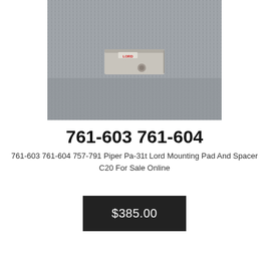[Figure (photo): Photo of a LORD engine mounting pad and spacer part (small rectangular beige/grey component with a stud) resting on a grey carpet background.]
761-603 761-604
761-603 761-604 757-791 Piper Pa-31t Lord Mounting Pad And Spacer C20 For Sale Online
$385.00